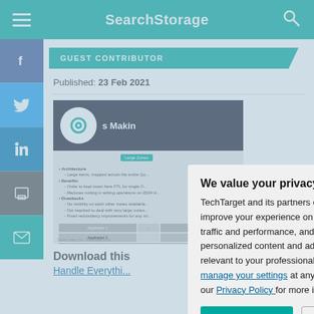SearchStorage
GUEST CONTRIBUTOR
Published: 23 Feb 2021
[Figure (screenshot): Video thumbnail showing a presentation slide with a teal eye logo, title starting with 'Makin', architecture/benefits/drawbacks bullet points, and network diagrams. Santa Clara, CA - November 2020.]
Download this
Handle Everythi...
We value your privacy.
TechTarget and its partners employ cookies to improve your experience on our site, to analyze traffic and performance, and to serve personalized content and advertising that are relevant to your professional interests. You can manage your settings at any time. Please view our Privacy Policy for more information